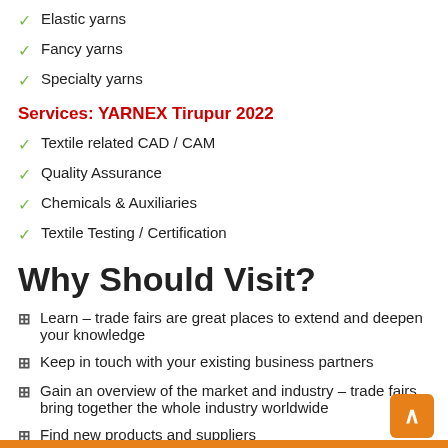Elastic yarns
Fancy yarns
Specialty yarns
Services: YARNEX Tirupur 2022
Textile related CAD / CAM
Quality Assurance
Chemicals & Auxiliaries
Textile Testing / Certification
Why Should Visit?
Learn – trade fairs are great places to extend and deepen your knowledge
Keep in touch with your existing business partners
Gain an overview of the market and industry – trade fairs bring together the whole industry worldwide
Find new products and suppliers